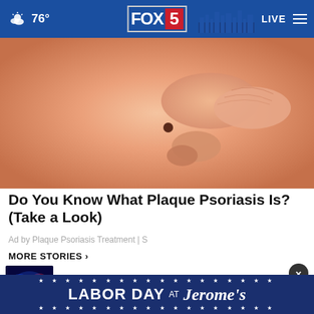76° FOX 5 LIVE
[Figure (photo): Close-up photo of a person's hand touching a mole or skin lesion on someone's torso — related to plaque psoriasis article]
Do You Know What Plaque Psoriasis Is? (Take a Look)
Ad by Plaque Psoriasis Treatment | S
MORE STORIES ›
Victim in Spring Valley shootin
[Figure (photo): Police blue lights thumbnail]
When are Pumpkin Spice Lattes
[Figure (photo): Food/coffee related thumbnail]
[Figure (infographic): Labor Day at Jerome's advertisement banner with stars and bold text]